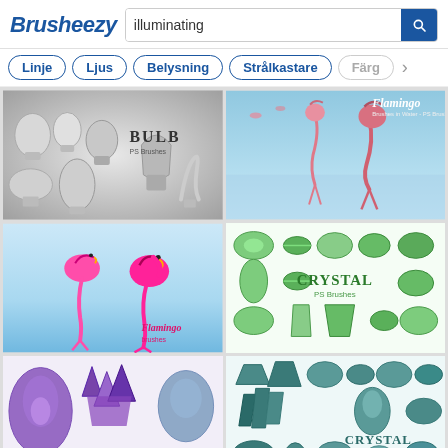Brusheezy — illuminating
Linje
Ljus
Belysning
Strålkastare
Färg
[Figure (illustration): Grid of light bulb illustrations in grayscale with text BULB PS Brushes]
[Figure (illustration): Pink flamingos standing in water with sky blue background, labeled Flamingo]
[Figure (illustration): Two bright pink flamingos on light blue background, labeled Flamingo brushes]
[Figure (illustration): Green gemstone/crystal shapes arranged in grid with text CRYSTAL PS Brushes]
[Figure (illustration): Purple amethyst crystals and gemstone shapes, labeled CRYSTAL]
[Figure (illustration): Teal/dark crystal and gemstone shapes with text CRYSTAL PS Brushes]